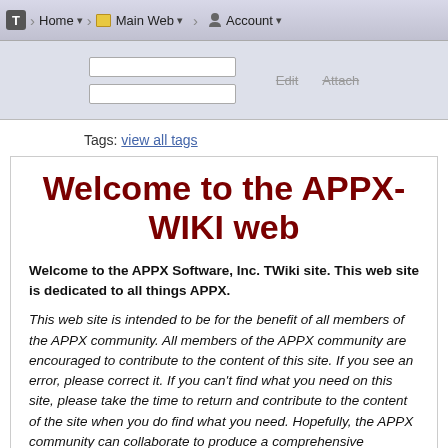T  Home  Main Web  Account
[Figure (screenshot): Toolbar area with two search input fields and Edit / Attach buttons]
Tags: view all tags
Welcome to the APPX-WIKI web
Welcome to the APPX Software, Inc. TWiki site. This web site is dedicated to all things APPX.
This web site is intended to be for the benefit of all members of the APPX community. All members of the APPX community are encouraged to contribute to the content of this site. If you see an error, please correct it. If you can't find what you need on this site, please take the time to return and contribute to the content of the site when you do find what you need. Hopefully, the APPX community can collaborate to produce a comprehensive